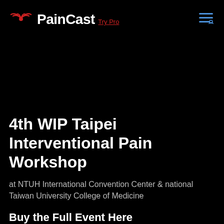[Figure (logo): PainCast logo with red radio wave icon above 'Pain' text, followed by 'Cast' and 'Try Pro' link in red]
4th WIP Taipei Interventional Pain Workshop
at NTUH International Convention Center & national Taiwan University College of Medicine
Buy the Full Event Here
$50